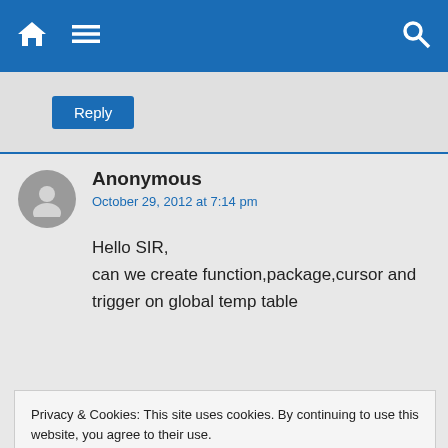Navigation bar with home icon, menu icon, and search icon
Reply
Anonymous
October 29, 2012 at 7:14 pm

Hello SIR,
can we create function,package,cursor and trigger on global temp table
Privacy & Cookies: This site uses cookies. By continuing to use this website, you agree to their use.
To find out more, including how to control cookies, see here: Cookie Policy
Close and accept
November 20, 2012 at 8:17 am